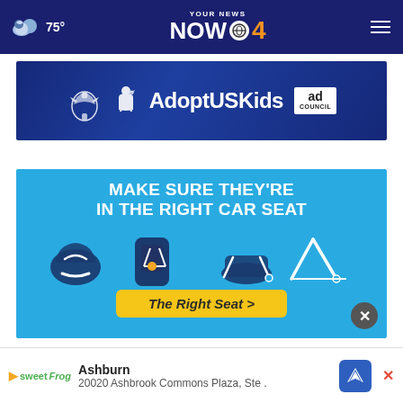75° YOUR NEWS NOW CBS 4
[Figure (infographic): AdoptUSKids advertisement banner with HHS eagle logo, child icon, Adopt US Kids text, and Ad Council badge on dark blue background]
[Figure (infographic): Car seat safety advertisement on blue background: MAKE SURE THEY'RE IN THE RIGHT CAR SEAT with icons of different car seat types and a yellow The Right Seat > button, with close X button]
[Figure (infographic): Bottom ad bar: sweetFrog logo, Ashburn location, 20020 Ashbrook Commons Plaza Ste., blue map/navigation icon]